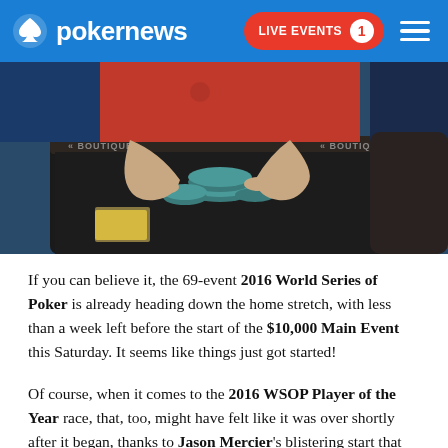pokernews | LIVE EVENTS 1
[Figure (photo): A poker player in a red shirt leaning over a poker table with chips, with 'BOUTIQUE' visible on the table rail.]
If you can believe it, the 69-event 2016 World Series of Poker is already heading down the home stretch, with less than a week left before the start of the $10,000 Main Event this Saturday. It seems like things just got started!
Of course, when it comes to the 2016 WSOP Player of the Year race, that, too, might have felt like it was over shortly after it began, thanks to Jason Mercier's blistering start that included two bracelet wins, a runner-up, and a couple more deep runs.
Mercier is up to 10 cashes total now, and currently enjoys a